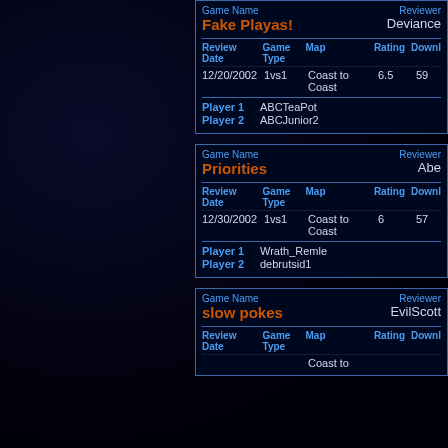| Game Name | Reviewer | Review Date | Game Type | Map | Rating | Downloads | Player 1 | Player 2 |
| --- | --- | --- | --- | --- | --- | --- | --- | --- |
| Fake Playas! | Deviance | 12/20/2002 | 1vs1 | Coast to Coast | 6.5 | 59 | ABCTeaPot | ABCJunior2 |
| Game Name | Reviewer | Review Date | Game Type | Map | Rating | Downloads | Player 1 | Player 2 |
| --- | --- | --- | --- | --- | --- | --- | --- | --- |
| Priorities | Abe | 12/30/2002 | 1vs1 | Coast to Coast | 6 | 57 | Wrath_Remle | debrutsid1 |
| Game Name | Reviewer | Review Date | Game Type | Map | Rating | Downloads |
| --- | --- | --- | --- | --- | --- | --- |
| slow pokes | EvilScott |  |  | Coast to |  |  |